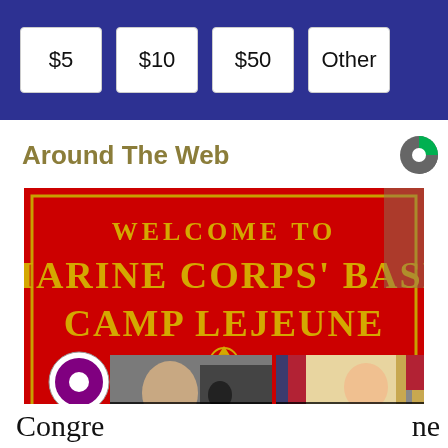$5  $10  $50  Other
Around The Web
[Figure (photo): Welcome to Marine Corps Base Camp Lejeune sign — large red banner with gold lettering and military unit insignia patches]
[Figure (photo): News card: A Tragic End Today For Willie Nelson — Breaking News]
[Figure (photo): News card: Dems Raid Mar-A-Lago when They Should b... — Infected]
Congre ... ne